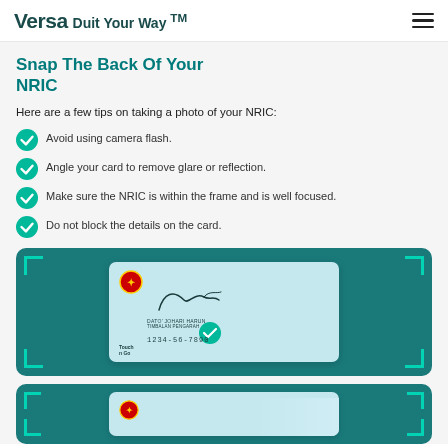Versa Duit Your Way ™
Snap The Back Of Your NRIC
Here are a few tips on taking a photo of your NRIC:
Avoid using camera flash.
Angle your card to remove glare or reflection.
Make sure the NRIC is within the frame and is well focused.
Do not block the details on the card.
[Figure (illustration): A teal-colored card capture UI showing an NRIC card back with a green checkmark and a corner-bracket capture frame overlay.]
[Figure (illustration): Second teal-colored card capture UI showing another NRIC card view with corner-bracket frame, partially visible.]